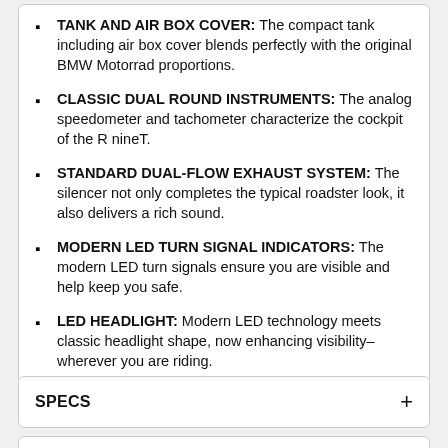TANK AND AIR BOX COVER: The compact tank including air box cover blends perfectly with the original BMW Motorrad proportions.
CLASSIC DUAL ROUND INSTRUMENTS: The analog speedometer and tachometer characterize the cockpit of the R nineT.
STANDARD DUAL-FLOW EXHAUST SYSTEM: The silencer not only completes the typical roadster look, it also delivers a rich sound.
MODERN LED TURN SIGNAL INDICATORS: The modern LED turn signals ensure you are visible and help keep you safe.
LED HEADLIGHT: Modern LED technology meets classic headlight shape, now enhancing visibility– wherever you are riding.
SPECS
PHOTOS